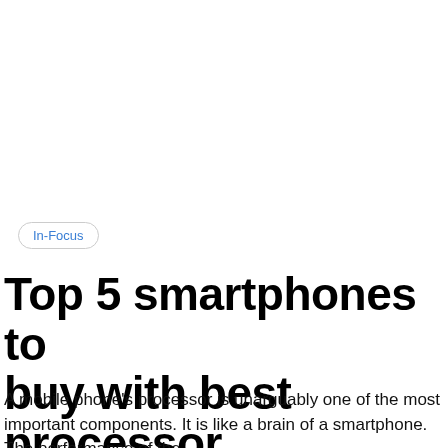In-Focus
Top 5 smartphones to buy with best processor
A mobile phone's processor is unarguably one of the most important components. It is like a brain of a smartphone. The performance of the…